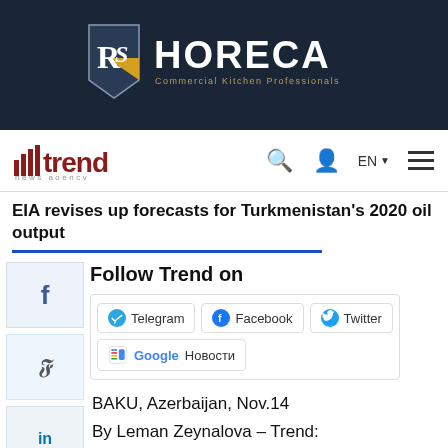[Figure (logo): HORECA Commercial Kitchen Professionals logo on dark navy background]
trend news agency | search | user | EN | menu
EIA revises up forecasts for Turkmenistan's 2020 oil output
Follow Trend on
Telegram   Facebook   Twitter   Google Новости
BAKU, Azerbaijan, Nov.14
By Leman Zeynalova – Trend: